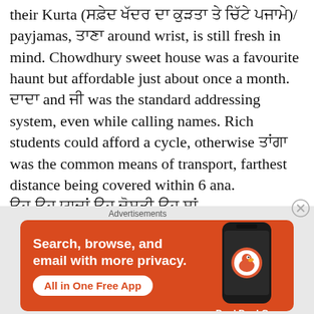their Kurta (ਸਫ਼ੇਦ ਖੱਦਰ ਦਾ ਕੁੜਤਾ ਤੇ ਚਿੱਟੇ ਪਜਾਮੇ)/ payjamas, ਤਾਣਾ around wrist, is still fresh in mind. Chowdhury sweet house was a favourite haunt but affordable just about once a month.
ਦਾਦਾ and ਜੀ was the standard addressing system, even while calling names. Rich students could afford a cycle, otherwise ਤਾਂਗਾ was the common means of transport, farthest distance being covered within 6 ana.
ਉਹ ਉਹ ਯਾਦਾਂ ਉਹ ਦੋਸਤੀ ਉਹ ਸਾਂ ਕੱਢੀਆਂ ਕਿ
[Figure (screenshot): DuckDuckGo advertisement banner with orange background. Text reads 'Search, browse, and email with more privacy. All in One Free App' with a phone graphic and DuckDuckGo logo.]